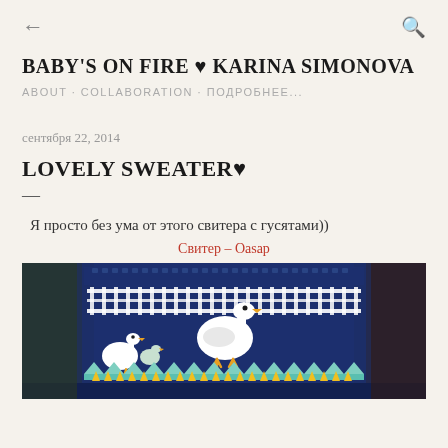← (back arrow)   🔍 (search icon)
BABY'S ON FIRE ♥ KARINA SIMONOVA
ABOUT · COLLABORATION · ПОДРОБНЕЕ...
сентября 22, 2014
LOVELY SWEATER♥
—
Я просто без ума от этого свитера с гусятами))
Свитер – Oasap
[Figure (photo): Close-up photo of a navy blue knitted sweater featuring white geese/goslings with yellow beaks and feet, a white picket fence pattern, mint green zigzag trim, and yellow tulip/crown border at the bottom. The sweater is photographed outdoors with blurred green and brown foliage in the background.]